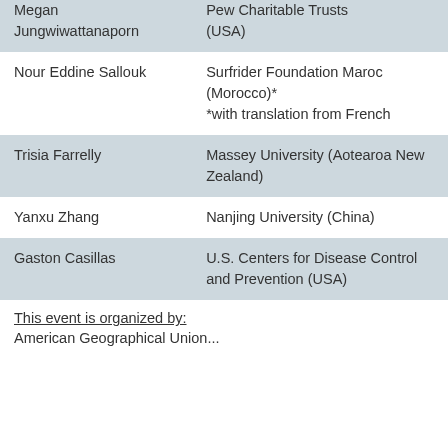| Megan Jungwiwattanaporn | Pew Charitable Trusts (USA) |
| Nour Eddine Sallouk | Surfrider Foundation Maroc (Morocco)*
*with translation from French |
| Trisia Farrelly | Massey University (Aotearoa New Zealand) |
| Yanxu Zhang | Nanjing University (China) |
| Gaston Casillas | U.S. Centers for Disease Control and Prevention (USA) |
This event is organized by:
American Geographical Union...